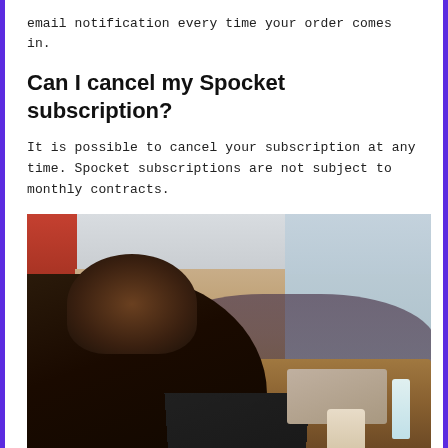email notification every time your order comes in.
Can I cancel my Spocket subscription?
It is possible to cancel your subscription at any time. Spocket subscriptions are not subject to monthly contracts.
[Figure (photo): Photo of a business meeting in a conference room. A woman with curly hair in a black outfit sits in the foreground with a laptop and coffee cup. Several other people are seated around a long wooden table, some with laptops open, in a modern office with large windows.]